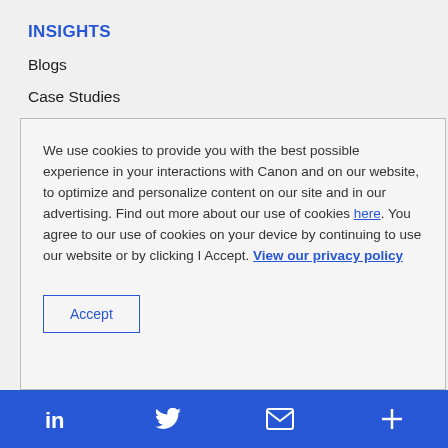INSIGHTS
Blogs
Case Studies
Events
We use cookies to provide you with the best possible experience in your interactions with Canon and on our website, to optimize and personalize content on our site and in our advertising. Find out more about our use of cookies here. You agree to our use of cookies on your device by continuing to use our website or by clicking I Accept. View our privacy policy
Accept